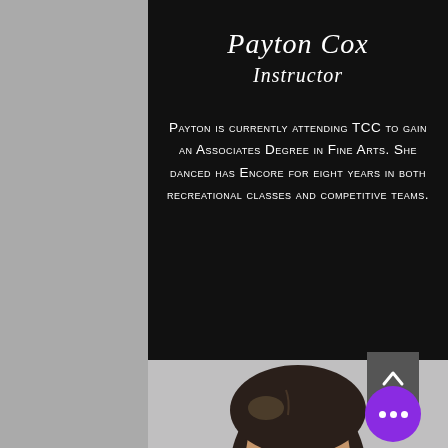Payton Cox
Instructor
Payton is currently attending TCC to gain an Associates Degree in Fine Arts. She danced has Encore for eight years in both recreational classes and competitive teams.
[Figure (photo): Partial view of a person's head/hair against a light gray background, bottom portion of page]